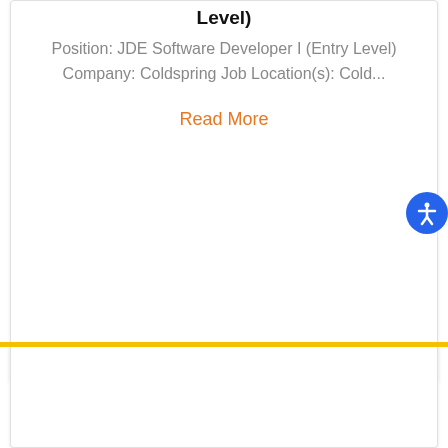Level)
Position: JDE Software Developer I (Entry Level) Company: Coldspring Job Location(s): Cold...
Read More